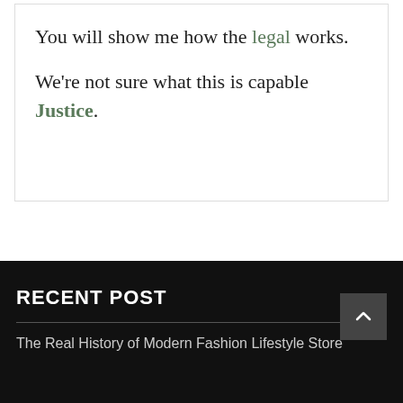You will show me how the legal works. We're not sure what this is capable Justice.
RECENT POST
The Real History of Modern Fashion Lifestyle Store